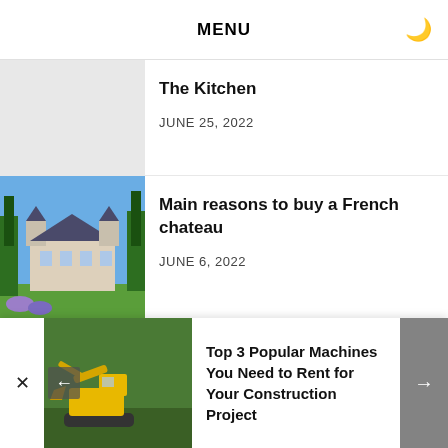MENU
The Kitchen
JUNE 25, 2022
Main reasons to buy a French chateau
JUNE 6, 2022
Top 3 Popular Machines You Need to Rent for Your Construction Project